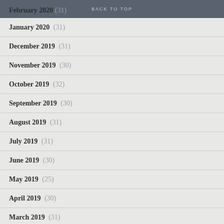BACK TO TOP
February 2020 (31)
January 2020 (31)
December 2019 (31)
November 2019 (30)
October 2019 (32)
September 2019 (30)
August 2019 (31)
July 2019 (31)
June 2019 (30)
May 2019 (25)
April 2019 (30)
March 2019 (31)
February 2019 (29)